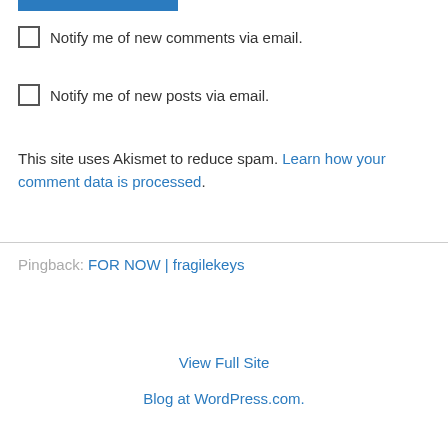Notify me of new comments via email.
Notify me of new posts via email.
This site uses Akismet to reduce spam. Learn how your comment data is processed.
Pingback: FOR NOW | fragilekeys
View Full Site
Blog at WordPress.com.